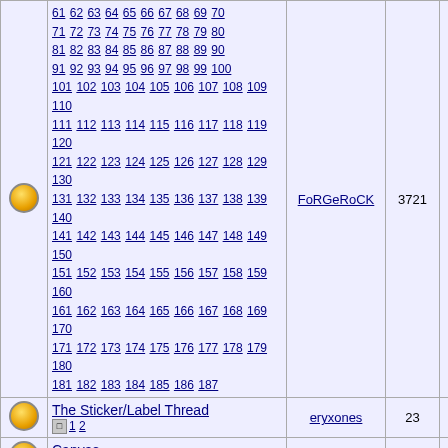|  | Thread | Author | Replies | Views |
| --- | --- | --- | --- | --- |
| [icon] | 61 62 63 64 65 66 67 68 69 70 71 72 73 74 75 76 77 78 79 80 81 82 83 84 85 86 87 88 89 90 91 92 93 94 95 96 97 98 99 100 101 102 103 104 105 106 107 108 109 110 111 112 113 114 115 116 117 118 119 120 121 122 123 124 125 126 127 128 129 130 131 132 133 134 135 136 137 138 139 140 141 142 143 144 145 146 147 148 149 150 151 152 153 154 155 156 157 158 159 160 161 162 163 164 165 166 167 168 169 170 171 172 173 174 175 176 177 178 179 180 181 182 183 184 185 186 187 | FoRGeRoCK | 3721 | 579008 |
| [icon] | The Sticker/Label Thread | 1 2 | eryxones | 23 | 9478 |
| [icon] | Canvas | 1 2 3 | mrbrown | 45 | 12033 |
| [icon] | Old skoo sketch books | 1 2 | KOOLAIDE KILLA | 22 | 8071 |
| [icon] | The Exchange Thread | 1 2 3 | eryxones | 45 | 13362 |
| [icon] | Suggestions | SloeOne | 5 | 2871 |
| [icon] | D | DAYER | 10 | 3230 |